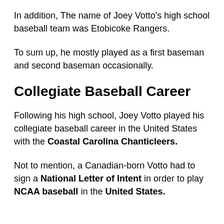In addition, The name of Joey Votto's high school baseball team was Etobicoke Rangers.
To sum up, he mostly played as a first baseman and second baseman occasionally.
Collegiate Baseball Career
Following his high school, Joey Votto played his collegiate baseball career in the United States with the Coastal Carolina Chanticleers.
Not to mention, a Canadian-born Votto had to sign a National Letter of Intent in order to play NCAA baseball in the United States.